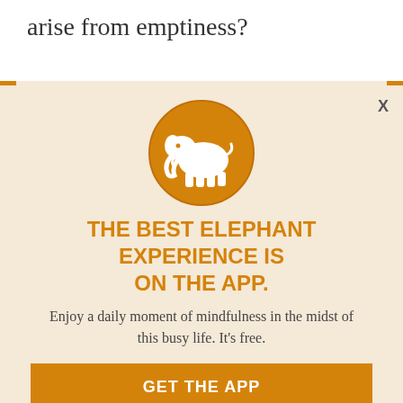arise from emptiness?
[Figure (screenshot): App promotion modal overlay on article background. Orange circle with white elephant logo at top. Modal contains headline, subtext, and two buttons on a beige/cream background. Background shows faded italic article text in orange tones.]
THE BEST ELEPHANT EXPERIENCE IS ON THE APP.
Enjoy a daily moment of mindfulness in the midst of this busy life. It's free.
GET THE APP
OPEN IN APP